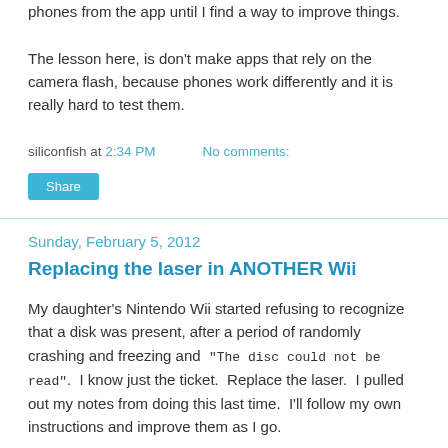phones from the app until I find a way to improve things.

The lesson here, is don't make apps that rely on the camera flash, because phones work differently and it is really hard to test them.
siliconfish at 2:34 PM    No comments:
Share
Sunday, February 5, 2012
Replacing the laser in ANOTHER Wii
My daughter's Nintendo Wii started refusing to recognize that a disk was present, after a period of randomly crashing and freezing and  "The disc could not be read".  I know just the ticket.  Replace the laser.  I pulled out my notes from doing this last time.  I'll follow my own instructions and improve them as I go.
http://blogsomething.../2011/01/replacing-laser-in-wii...